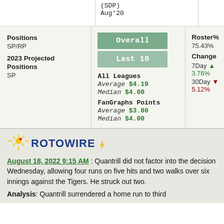|  | (SDP) Aug'20 |  |
| --- | --- | --- |
|  |
Positions
SP/RP
2023 Projected Positions
SP
Overall
Last 10
All Leagues
Average $4.19
Median $4.00
FanGraphs Points
Average $3.80
Median $4.00
Roster%
75.43%
Change
7Day ▲ 3.76%
30Day ▼ 5.12%
[Figure (logo): RotoWire logo with sun graphic and lightning bolt]
August 18, 2022 9:15 AM : Quantrill did not factor into the decision Wednesday, allowing four runs on five hits and two walks over six innings against the Tigers. He struck out two.
Analysis: Quantrill surrendered a home run to third